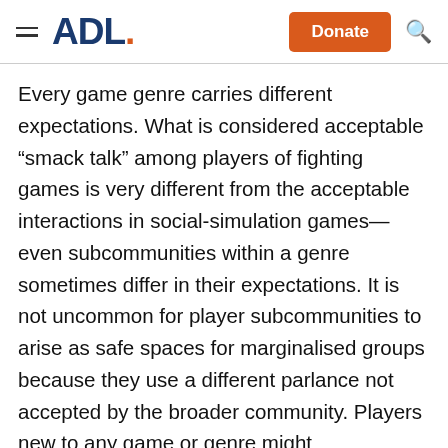ADL. [Donate] [Search]
Every game genre carries different expectations. What is considered acceptable “smack talk” among players of fighting games is very different from the acceptable interactions in social-simulation games—even subcommunities within a genre sometimes differ in their expectations. It is not uncommon for player subcommunities to arise as safe spaces for marginalised groups because they use a different parlance not accepted by the broader community. Players new to any game or genre might unintentionally violate these norms, and are likely to adapt quickly to whatever is dominant to fit in,